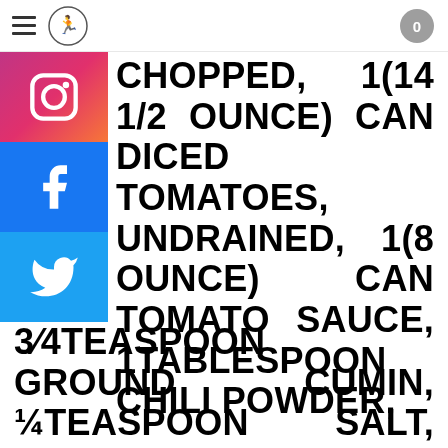navigation header with hamburger menu, logo, and counter showing 0
CHOPPED, 1(14 1/2 OUNCE) CAN DICED TOMATOES, UNDRAINED, 1(8 OUNCE) CAN TOMATO SAUCE, 1TABLESPOON CHILI POWDER, 3/4TEASPOON GROUND CUMIN, 1/4TEASPOON SALT, 1/4TEASPOON PEPPER, 1(15-16 OUNCE) CAN KIDNEY BEANS, RINSED AND DRAINED OR 1 (15-16 OUNCE) CAN PINTO BEANS,